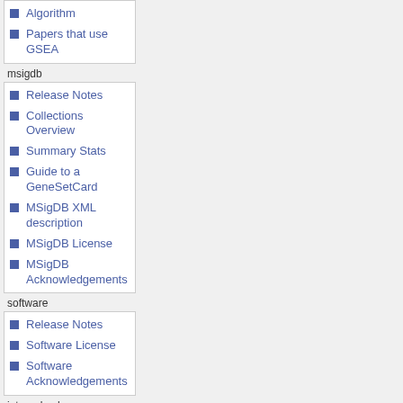Algorithm
Papers that use GSEA
msigdb
Release Notes
Collections Overview
Summary Stats
Guide to a GeneSetCard
MSigDB XML description
MSigDB License
MSigDB Acknowledgements
software
Release Notes
Software License
Software Acknowledgements
internal only
Wiki How-to-Use
Bugs and Enhancements